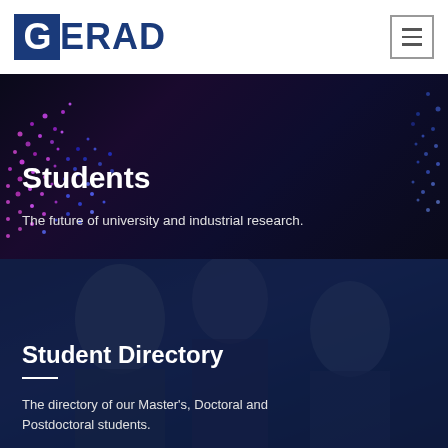[Figure (logo): GERAD logo with blue box containing stylized G followed by ERAD text in blue]
[Figure (illustration): Hamburger menu icon button with three horizontal lines inside a square border]
[Figure (photo): Dark abstract background with pink and blue particle/dot pattern forming a sphere or wave on the left and right sides, representing a digital futuristic visual]
Students
The future of university and industrial research.
[Figure (photo): Photo of two or three young men (students) looking at a screen, overlaid with blue tint]
Student Directory
The directory of our Master's, Doctoral and Postdoctoral students.